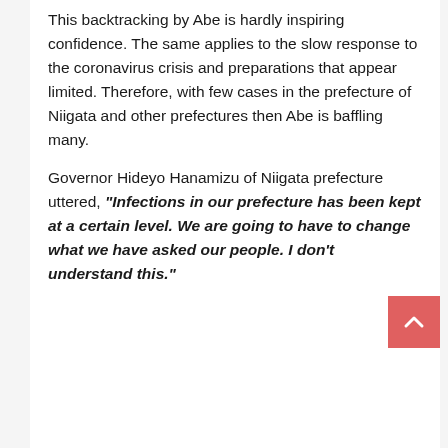This backtracking by Abe is hardly inspiring confidence. The same applies to the slow response to the coronavirus crisis and preparations that appear limited. Therefore, with few cases in the prefecture of Niigata and other prefectures then Abe is baffling many.
Governor Hideyo Hanamizu of Niigata prefecture uttered, "Infections in our prefecture has been kept at a certain level. We are going to have to change what we have asked our people. I don't understand this."